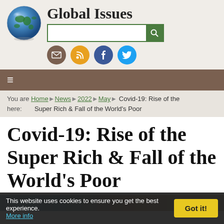Global Issues
[Figure (logo): Globe icon logo for Global Issues website]
You are here: Home › News › 2022 › May › Covid-19: Rise of the Super Rich & Fall of the World's Poor
Covid-19: Rise of the Super Rich & Fall of the World's Poor
[Figure (photo): Partial view of article header image]
This website uses cookies to ensure you get the best experience. More info